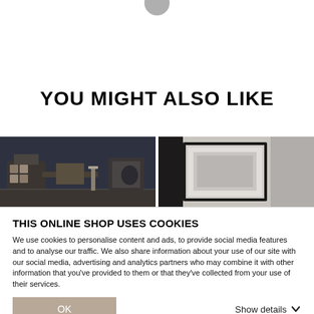YOU MIGHT ALSO LIKE
[Figure (photo): Two product images side by side: left shows decorative items on a dark surface, right shows a framed picture on a light wall]
THIS ONLINE SHOP USES COOKIES
We use cookies to personalise content and ads, to provide social media features and to analyse our traffic. We also share information about your use of our site with our social media, advertising and analytics partners who may combine it with other information that you've provided to them or that they've collected from your use of their services.
OK
Show details